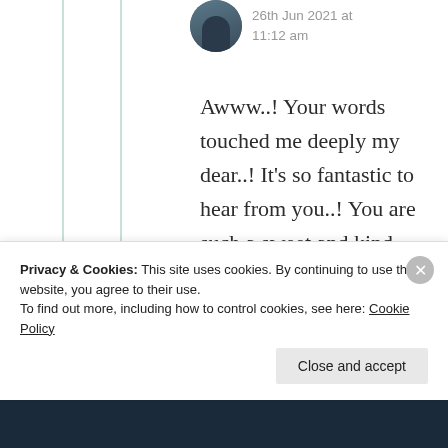26th Jun 2021 at 11:12 am
Awww..! Your words touched me deeply my dear..! It's so fantastic to hear from you..! You are such a sweet and kind hearted soul my dear..! Sure my dear friend, thanks a lot dear for your
Privacy & Cookies: This site uses cookies. By continuing to use this website, you agree to their use.
To find out more, including how to control cookies, see here: Cookie Policy
Close and accept